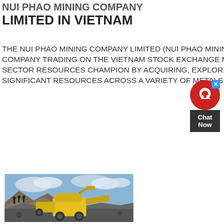LIMITED IN VIETNAM
THE NUI PHAO MINING COMPANY LIMITED (NUI PHAO MINING) IS A SUBSIDIARY OF MASAN RESOURCES, A PUBLICLY LISTED COMPANY TRADING ON THE VIETNAM STOCK EXCHANGE MASAN RESOURCES IS LOOKING TO BECOME VIETNAM'S PRIVATE SECTOR RESOURCES CHAMPION BY ACQUIRING, EXPLORING AND DEVELOPING RESOURCE ASSETS OF SCALE VIETNAM HAS SIGNIFICANT RESOURCES ACROSS A VARIETY OF METALS AND MINERALS . GET PRICE. OVERVIEW
GET PRICE
[Figure (photo): A yellow mining crusher/excavator machine at a mining site with a rocky mound and workers visible in the background against a cloudy sky.]